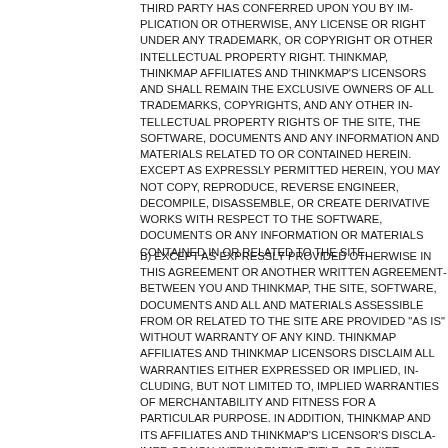THIRD PARTY HAS CONFERRED UPON YOU BY IMPLICATION OR OTHERWISE, ANY LICENSE OR RIGHT UNDER ANY TRADEMARK, OR COPYRIGHT OR OTHER INTELLECTUAL PROPERTY RIGHT. THINKMAP, THINKMAP AFFILIATES AND THINKMAP'S LICENSORS AND SHALL REMAIN THE EXCLUSIVE OWNERS OF ALL TRADEMARKS, COPYRIGHTS, AND ANY OTHER INTELLECTUAL PROPERTY RIGHTS OF THE SITE, THE SOFTWARE, DOCUMENTS AND ANY INFORMATION AND MATERIALS RELATED TO OR CONTAINED HEREIN. EXCEPT AS EXPRESSLY PERMITTED HEREIN, YOU MAY NOT COPY, REPRODUCE, REVERSE ENGINEER, DECOMPILE, DISASSEMBLE, OR CREATE DERIVATIVE WORKS WITH RESPECT TO THE SOFTWARE, DOCUMENTS OR ANY INFORMATION OR MATERIALS CONTAINED IN OR RELATED TO THE SITE.
B) EXCEPT AS EXPRESSLY PROVIDED OTHERWISE IN THIS AGREEMENT OR ANOTHER WRITTEN AGREEMENT BETWEEN YOU AND THINKMAP, THE SITE, SOFTWARE, DOCUMENTS AND ALL INFORMATION AND MATERIALS ASSESSIBLE FROM OR RELATED TO THE SITE ARE PROVIDED "AS IS" WITHOUT WARRANTY OF ANY KIND. THINKMAP AFFILIATES AND THINKMAP LICENSORS DISCLAIM ALL WARRANTIES EITHER EXPRESSED OR IMPLIED, INCLUDING, BUT NOT LIMITED TO, IMPLIED WARRANTIES OF MERCHANTABILITY AND FITNESS FOR A PARTICULAR PURPOSE. IN ADDITION, THINKMAP AND ITS AFFILIATES AND THINKMAP'S LICENSOR'S DISCLAIMER OF NON-INFRINGEMENT, TITLE, OR QUIET ENJOYMENT.